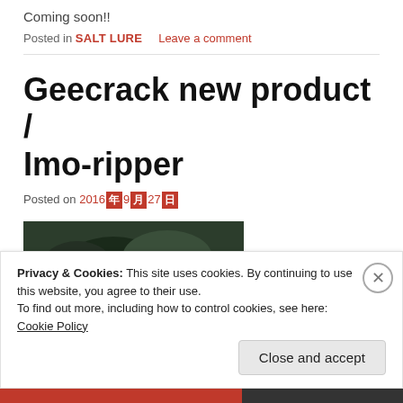Coming soon!!
Posted in SALT LURE   Leave a comment
Geecrack new product / Imo-ripper
Posted on 2016年9月27日
[Figure (photo): Partial view of a fishing lure or product image with dark green background]
Privacy & Cookies: This site uses cookies. By continuing to use this website, you agree to their use.
To find out more, including how to control cookies, see here: Cookie Policy
Close and accept